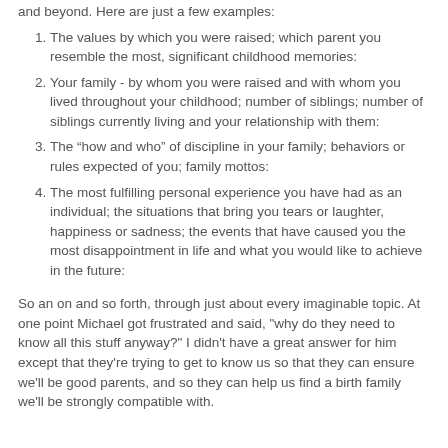and beyond. Here are just a few examples:
The values by which you were raised; which parent you resemble the most, significant childhood memories:
Your family - by whom you were raised and with whom you lived throughout your childhood; number of siblings; number of siblings currently living and your relationship with them:
The “how and who” of discipline in your family; behaviors or rules expected of you; family mottos:
The most fulfilling personal experience you have had as an individual; the situations that bring you tears or laughter, happiness or sadness; the events that have caused you the most disappointment in life and what you would like to achieve in the future:
So an on and so forth, through just about every imaginable topic. At one point Michael got frustrated and said, "why do they need to know all this stuff anyway?" I didn't have a great answer for him except that they're trying to get to know us so that they can ensure we'll be good parents, and so they can help us find a birth family we'll be strongly compatible with.